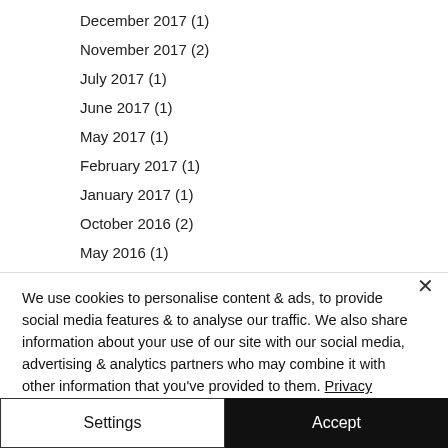December 2017 (1)
November 2017 (2)
July 2017 (1)
June 2017 (1)
May 2017 (1)
February 2017 (1)
January 2017 (1)
October 2016 (2)
May 2016 (1)
February 2016 (1)
January 2016 (1)
December 2015 (1)
August 2015 (1)
We use cookies to personalise content & ads, to provide social media features & to analyse our traffic. We also share information about your use of our site with our social media, advertising & analytics partners who may combine it with other information that you've provided to them. Privacy Policy
Settings
Accept